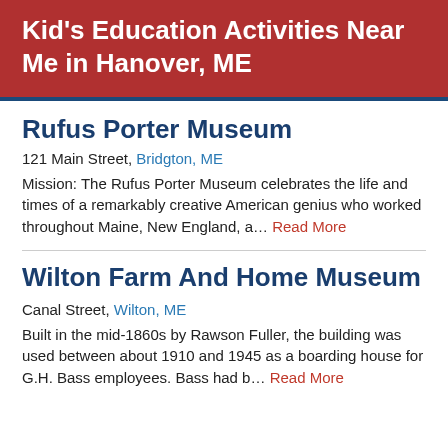Kid's Education Activities Near Me in Hanover, ME
Rufus Porter Museum
121 Main Street, Bridgton, ME
Mission: The Rufus Porter Museum celebrates the life and times of a remarkably creative American genius who worked throughout Maine, New England, a... Read More
Wilton Farm And Home Museum
Canal Street, Wilton, ME
Built in the mid-1860s by Rawson Fuller, the building was used between about 1910 and 1945 as a boarding house for G.H. Bass employees. Bass had b... Read More